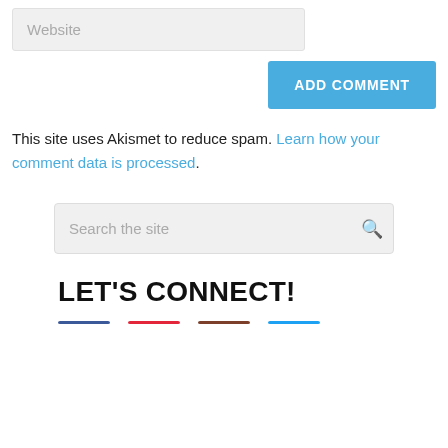Website
ADD COMMENT
This site uses Akismet to reduce spam. Learn how your comment data is processed.
Search the site
LET'S CONNECT!
[Figure (other): Four colored horizontal lines representing social media icons/links: dark blue, red, brown/dark red, and light blue]